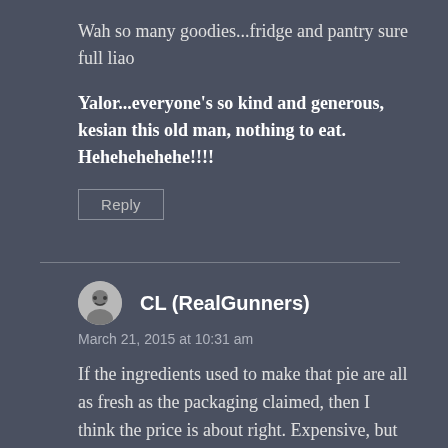Wah so many goodies...fridge and pantry sure full liao
Yalor...everyone's so kind and generous, kesian this old man, nothing to eat. Hehehehehehe!!!!
Reply
CL (RealGunners)
March 21, 2015 at 10:31 am
If the ingredients used to make that pie are all as fresh as the packaging claimed, then I think the price is about right. Expensive, but so